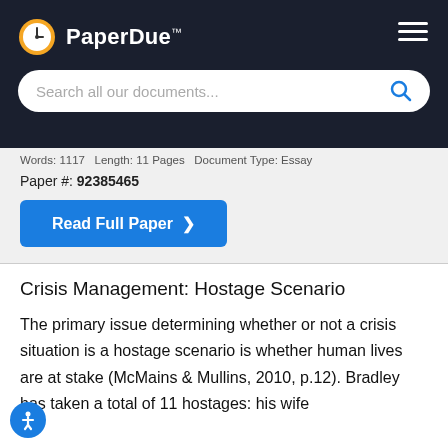PaperDue™
Words: 1117  Length: 11 Pages  Document Type: Essay
Paper #: 92385465
Read Full Paper ❯
Crisis Management: Hostage Scenario
The primary issue determining whether or not a crisis situation is a hostage scenario is whether human lives are at stake (McMains & Mullins, 2010, p.12). Bradley has taken a total of 11 hostages: his wife